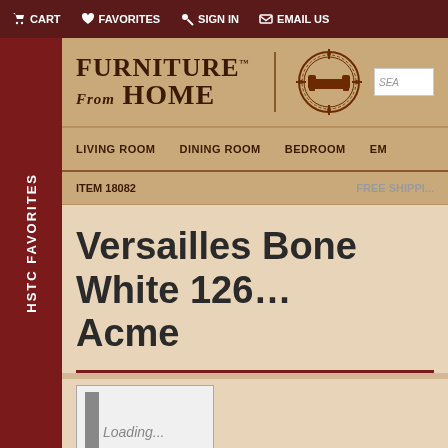CART | FAVORITES | SIGN IN | EMAIL US
[Figure (logo): Furniture From Home logo with decorative emblem and search box]
LIVING ROOM | DINING ROOM | BEDROOM | EM...
ITEM 18082 | FREE SHIPPI...
Versailles Bone White 126... Acme
[Figure (other): Loading... image placeholder with loading bar]